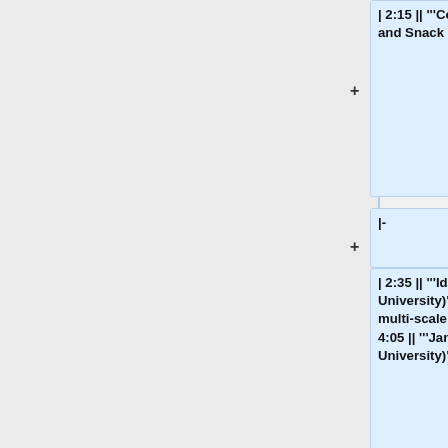| 2:15 || '''Coffee Break''' || 3:45 || '''Coffee and Snack Break'''
|-
| 2:35 || '''Ida Momennejad''' "(Columbia University)": Predicting the future with multi-scale successor representations. || 4:05 || '''Janice Chen''' "(Johns Hopkins University)": Behavioral and neural